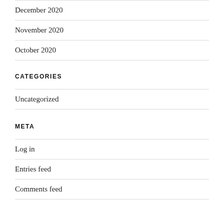December 2020
November 2020
October 2020
CATEGORIES
Uncategorized
META
Log in
Entries feed
Comments feed